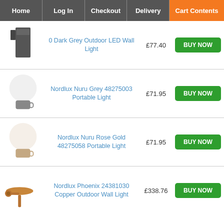Home | Log In | Checkout | Delivery | Cart Contents
0 Dark Grey Outdoor LED Wall Light
£77.40
BUY NOW
Nordlux Nuru Grey 48275003 Portable Light
£71.95
BUY NOW
Nordlux Nuru Rose Gold 48275058 Portable Light
£71.95
BUY NOW
Nordlux Phoenix 24381030 Copper Outdoor Wall Light
£338.76
BUY NOW